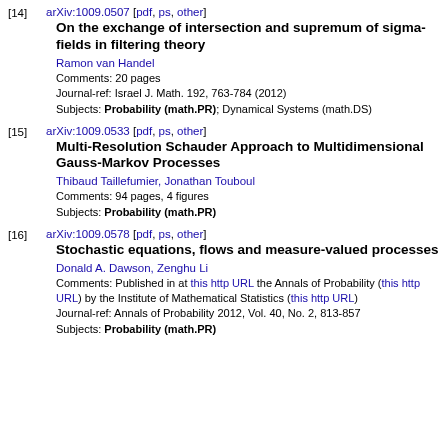[14] arXiv:1009.0507 [pdf, ps, other]
On the exchange of intersection and supremum of sigma-fields in filtering theory
Ramon van Handel
Comments: 20 pages
Journal-ref: Israel J. Math. 192, 763-784 (2012)
Subjects: Probability (math.PR); Dynamical Systems (math.DS)
[15] arXiv:1009.0533 [pdf, ps, other]
Multi-Resolution Schauder Approach to Multidimensional Gauss-Markov Processes
Thibaud Taillefumier, Jonathan Touboul
Comments: 94 pages, 4 figures
Subjects: Probability (math.PR)
[16] arXiv:1009.0578 [pdf, ps, other]
Stochastic equations, flows and measure-valued processes
Donald A. Dawson, Zenghu Li
Comments: Published in at this http URL the Annals of Probability (this http URL) by the Institute of Mathematical Statistics (this http URL)
Journal-ref: Annals of Probability 2012, Vol. 40, No. 2, 813-857
Subjects: Probability (math.PR)